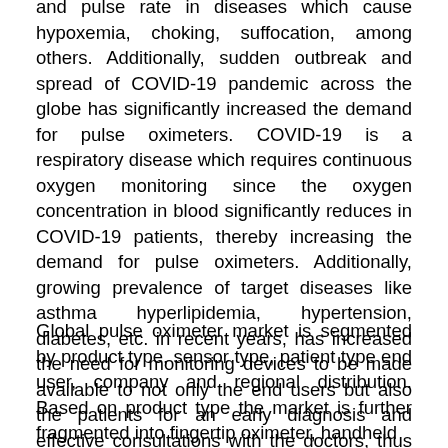and pulse rate in diseases which cause hypoxemia, choking, suffocation, among others. Additionally, sudden outbreak and spread of COVID-19 pandemic across the globe has significantly increased the demand for pulse oximeters. COVID-19 is a respiratory disease which requires continuous oxygen monitoring since the oxygen concentration in blood significantly reduces in COVID-19 patients, thereby increasing the demand for pulse oximeters. Additionally, growing prevalence of target diseases like asthma hyperlipidemia, hypertension, diabetes, etc. in recent years, has increased the need for monitoring devices to be made available to not only the end users but also the patients for an early diagnosis and effective consultations with the doctors, thus supporting the positive growth of the market in the forecast period.
Global pulse oximeter market is segmented by product type, sensor type, patient type end user, company and regional distribution. Based on product type the market is further fragmented into fingertip oximeter, handheld